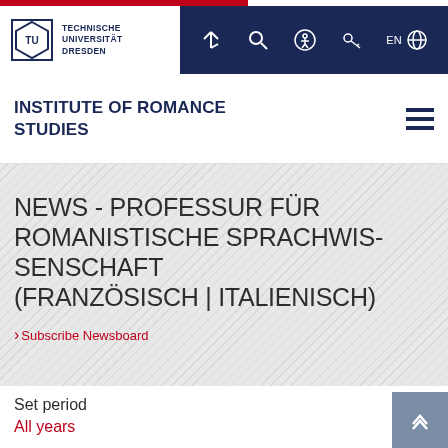TECHNISCHE UNIVERSITÄT DRESDEN
INSTITUTE OF ROMANCE STUDIES
NEWS - PROFESSUR FÜR ROMANISTISCHE SPRACHWISSENSCHAFT (FRANZÖSISCH | ITALIENISCH)
> Subscribe Newsboard
Set period
All years